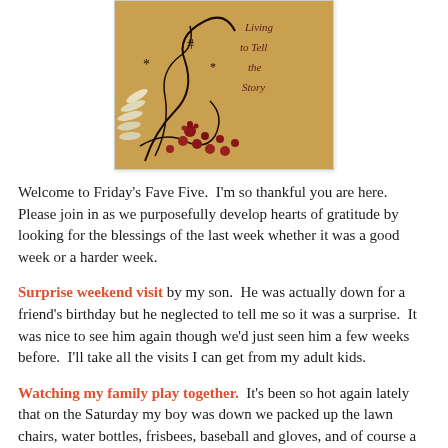[Figure (illustration): Blog badge/logo image with floral design (dark swirling vines and red flowers on a tan/golden background) and text 'Living to Tell the Story']
Welcome to Friday's Fave Five. I'm so thankful you are here. Please join in as we purposefully develop hearts of gratitude by looking for the blessings of the last week whether it was a good week or a harder week.
Surprise weekend visit by my son. He was actually down for a friend's birthday but he neglected to tell me so it was a surprise. It was nice to see him again though we'd just seen him a few weeks before. I'll take all the visits I can get from my adult kids.
Watching my family play together. It's been so hot again lately that on the Saturday my boy was down we packed up the lawn chairs, water bottles, frisbees, baseball and gloves, and of course a book for me, and headed to the lake. It was